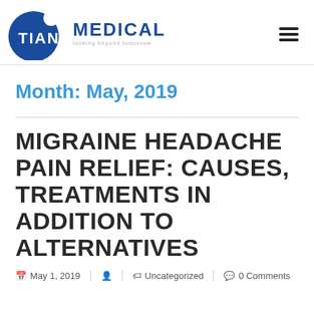TIAN MEDICAL
Month: May, 2019
MIGRAINE HEADACHE PAIN RELIEF: CAUSES, TREATMENTS IN ADDITION TO ALTERNATIVES
May 1, 2019  Uncategorized  0 Comments